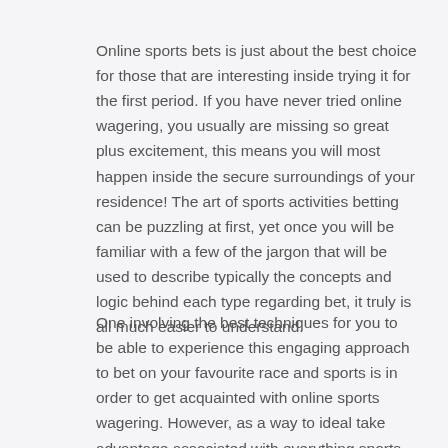Online sports bets is just about the best choice for those that are interesting inside trying it for the first period. If you have never tried online wagering, you usually are missing so great plus excitement, this means you will most happen inside the secure surroundings of your residence! The art of sports activities betting can be puzzling at first, yet once you will be familiar with a few of the jargon that will be used to describe typically the concepts and logic behind each type regarding bet, it truly is all much easier to understand.
One involving the best techniques for you to be able to experience this engaging approach to bet on your favourite race and sports is in order to get acquainted with online sports wagering. However, as a way to ideal take advantage associated with everything sports bets has to offer you, you need to know a tiny more about